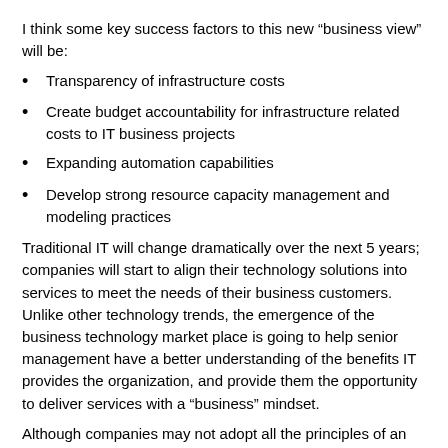I think some key success factors to this new “business view” will be:
Transparency of infrastructure costs
Create budget accountability for infrastructure related costs to IT business projects
Expanding automation capabilities
Develop strong resource capacity management and modeling practices
Traditional IT will change dramatically over the next 5 years; companies will start to align their technology solutions into services to meet the needs of their business customers. Unlike other technology trends, the emergence of the business technology market place is going to help senior management have a better understanding of the benefits IT provides the organization, and provide them the opportunity to deliver services with a “business” mindset.
Although companies may not adopt all the principles of an internal or private cloud, learning to change our mindset to be more business oriented through the consumerization of infrastructure resources has